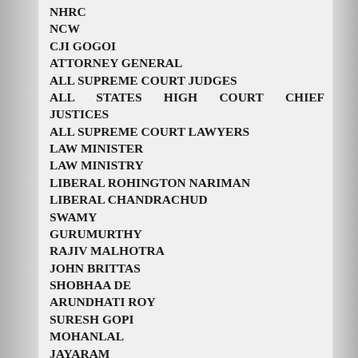NHRC
NCW
CJI GOGOI
ATTORNEY GENERAL
ALL SUPREME COURT JUDGES
ALL STATES HIGH COURT CHIEF JUSTICES
ALL SUPREME COURT LAWYERS
LAW MINISTER
LAW MINISTRY
LIBERAL ROHINGTON NARIMAN
LIBERAL CHANDRACHUD
SWAMY
GURUMURTHY
RAJIV MALHOTRA
JOHN BRITTAS
SHOBHAA DE
ARUNDHATI ROY
SURESH GOPI
MOHANLAL
JAYARAM
TUSHAR VELLAPALLY